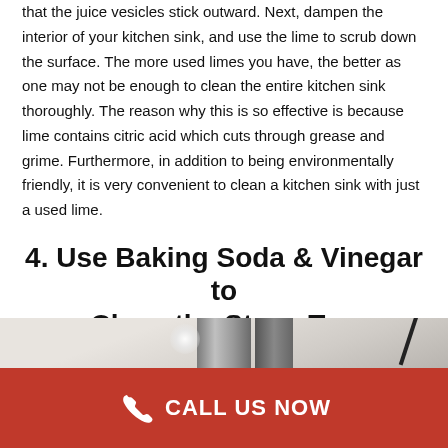that the juice vesicles stick outward. Next, dampen the interior of your kitchen sink, and use the lime to scrub down the surface. The more used limes you have, the better as one may not be enough to clean the entire kitchen sink thoroughly. The reason why this is so effective is because lime contains citric acid which cuts through grease and grime. Furthermore, in addition to being environmentally friendly, it is very convenient to clean a kitchen sink with just a used lime.
4. Use Baking Soda & Vinegar to Clean the Stove Top
[Figure (photo): Photo of a stove top with a metallic cylinder/pot and a diagonal element, light background suggesting a white stove surface]
CALL US NOW